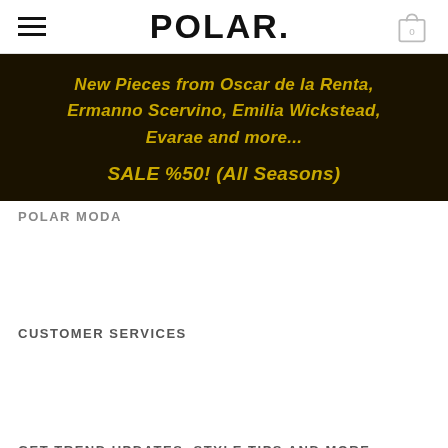POLAR.
[Figure (infographic): Dark promotional banner with gold italic text reading: New Pieces from Oscar de la Renta, Ermanno Scervino, Emilia Wickstead, Evarae and more... SALE %50! (All Seasons)]
POLAR MODA
CUSTOMER SERVICES
GET TREND UPDATES, STYLE TIPS AND MORE